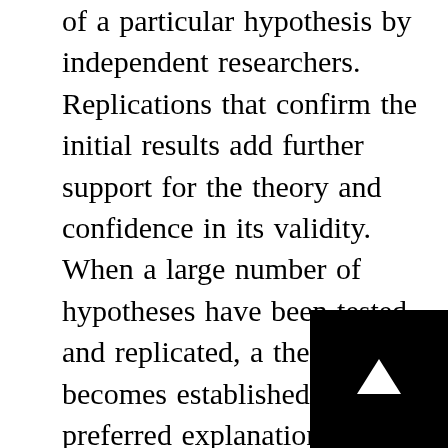of a particular hypothesis by independent researchers. Replications that confirm the initial results add further support for the theory and confidence in its validity. When a large number of hypotheses have been tested and replicated, a theory becomes established as the preferred explanation for a particular class of phenomena. Theories must be revised or replaced when facts inexplicable by the theory arise or tests of critical hypothesis derived from the theory fail.

Scientific theories are always considered be merely approximations or models of reality, not descriptions of reality. Thus, a